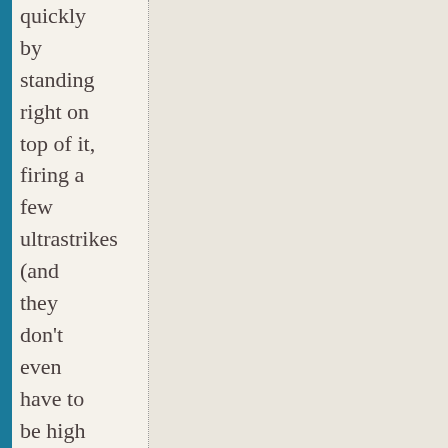quickly by standing right on top of it, firing a few ultrastrikes (and they don't even have to be high level ultrastrikes, you just have to score a